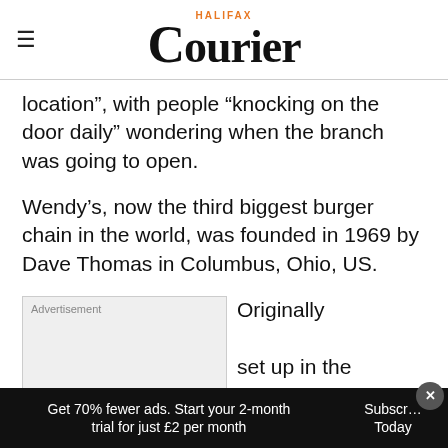Halifax Courier
location”, with people “knocking on the door daily” wondering when the branch was going to open.
Wendy’s, now the third biggest burger chain in the world, was founded in 1969 by Dave Thomas in Columbus, Ohio, US.
Advertisement
Originally set up in the
Get 70% fewer ads. Start your 2-month trial for just £2 per month
Subscribe Today